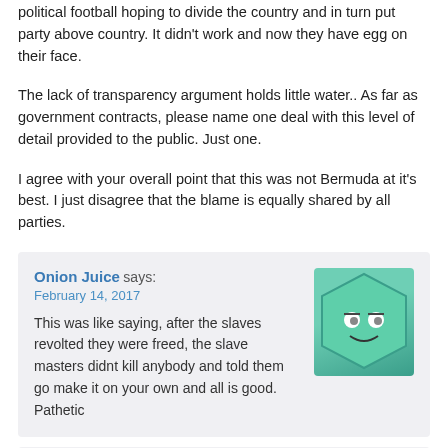political football hoping to divide the country and in turn put party above country. It didn't work and now they have egg on their face.
The lack of transparency argument holds little water.. As far as government contracts, please name one deal with this level of detail provided to the public. Just one.
I agree with your overall point that this was not Bermuda at it's best. I just disagree that the blame is equally shared by all parties.
Onion Juice says:
February 14, 2017
This was like saying, after the slaves revolted they were freed, the slave masters didnt kill anybody and told them go make it on your own and all is good. Pathetic
sid says:
February 15, 2017
How can someone evaluate a business deal without knowing about the industry? Would you use a dental hygienist to appraise your house value? Would